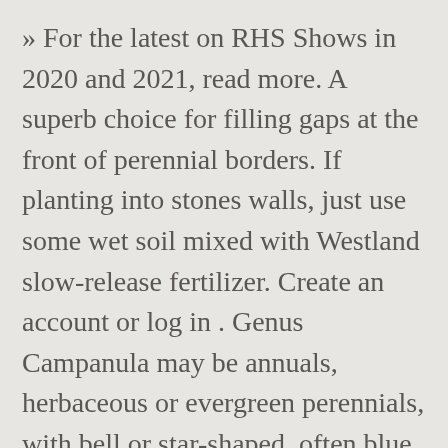» For the latest on RHS Shows in 2020 and 2021, read more. A superb choice for filling gaps at the front of perennial borders. If planting into stones walls, just use some wet soil mixed with Westland slow-release fertilizer. Create an account or log in . Genus Campanula may be annuals, herbaceous or evergreen perennials, with bell or star-shaped, often blue, flowers in late spring or summer Details C. poscharskyana is a spreading perennial forming a low mound of rounded leaves, with spreading stems bearing star-shaped light violet-blue flowers in summer and early autumn They mostly prefer good light, too, so plant them in the open in